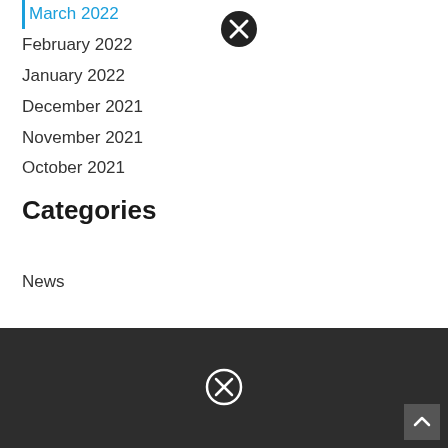March 2022
February 2022
January 2022
December 2021
November 2021
October 2021
Categories
News